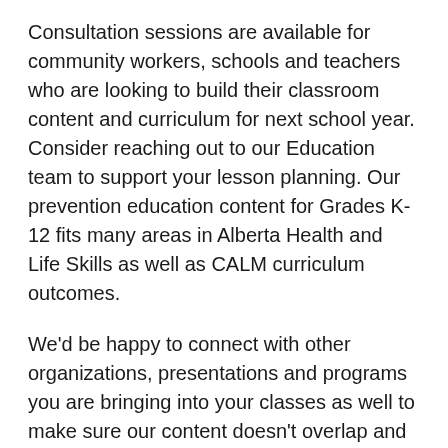Consultation sessions are available for community workers, schools and teachers who are looking to build their classroom content and curriculum for next school year. Consider reaching out to our Education team to support your lesson planning. Our prevention education content for Grades K-12 fits many areas in Alberta Health and Life Skills as well as CALM curriculum outcomes.
We'd be happy to connect with other organizations, presentations and programs you are bringing into your classes as well to make sure our content doesn't overlap and can together provides a well-rounded set of lessons for your students.
Have summer child + youth programming? We